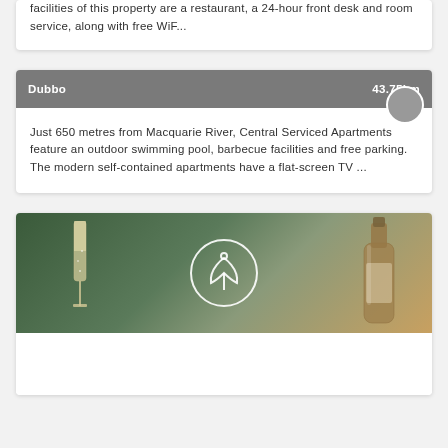facilities of this property are a restaurant, a 24-hour front desk and room service, along with free WiF...
Dubbo · 43.75km
Just 650 metres from Macquarie River, Central Serviced Apartments feature an outdoor swimming pool, barbecue facilities and free parking. The modern self-contained apartments have a flat-screen TV ...
[Figure (photo): Photo of champagne glass and bottle with a green leafy background, featuring a circular logo/icon in the center]